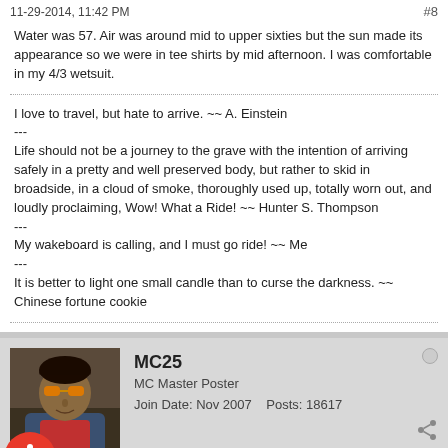11-29-2014, 11:42 PM   #8
Water was 57. Air was around mid to upper sixties but the sun made its appearance so we were in tee shirts by mid afternoon. I was comfortable in my 4/3 wetsuit.
I love to travel, but hate to arrive. ~~ A. Einstein
---
Life should not be a journey to the grave with the intention of arriving safely in a pretty and well preserved body, but rather to skid in broadside, in a cloud of smoke, thoroughly used up, totally worn out, and loudly proclaiming, Wow! What a Ride! ~~ Hunter S. Thompson
---
My wakeboard is calling, and I must go ride! ~~ Me
---
It is better to light one small candle than to curse the darkness. ~~ Chinese fortune cookie
MC25
MC Master Poster
Join Date: Nov 2007    Posts: 18617
11-29-2014, 11:44 PM   #9